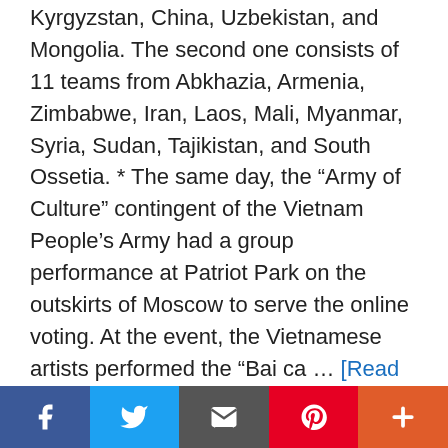Kyrgyzstan, China, Uzbekistan, and Mongolia. The second one consists of 11 teams from Abkhazia, Armenia, Zimbabwe, Iran, Laos, Mali, Myanmar, Syria, Sudan, Tajikistan, and South Ossetia. * The same day, the “Army of Culture” contingent of the Vietnam People’s Army had a group performance at Patriot Park on the outskirts of Moscow to serve the online voting. At the event, the Vietnamese artists performed the “Bai ca … [Read more...]
Filed Under: Uncategorized
top singer semi final contestants, top singer semi final